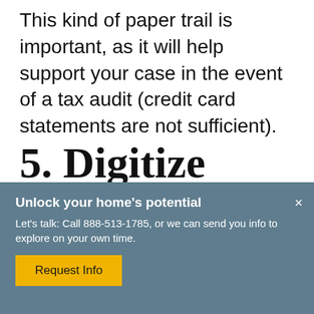This kind of paper trail is important, as it will help support your case in the event of a tax audit (credit card statements are not sufficient).
5. Digitize your receipts
Unlock your home's potential
Let's talk: Call 888-513-1785, or we can send you info to explore on your own time.
Request Info